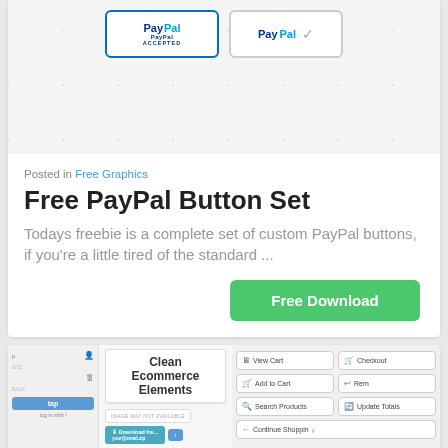[Figure (screenshot): PayPal badge previews on dotted grid background: 'PayPal Accepted' badge and 'PayPal verified' badge with checkmark]
Posted in Free Graphics
Free PayPal Button Set
Todays freebie is a complete set of custom PayPal buttons, if you're a little tired of the standard ...
Free Download
[Figure (screenshot): Clean Ecommerce Elements UI screenshot showing shopping cart interface with star ratings, e-commerce buttons (View Cart, Checkout, Add to Cart, Remove, Search Products, Update Totals, Continue Shopping)]